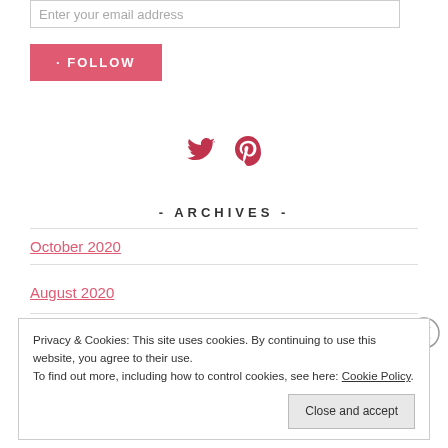Enter your email address
FOLLOW
[Figure (other): Twitter and Pinterest social media icons in red/crimson color]
- ARCHIVES -
October 2020
August 2020
Privacy & Cookies: This site uses cookies. By continuing to use this website, you agree to their use.
To find out more, including how to control cookies, see here: Cookie Policy
Close and accept